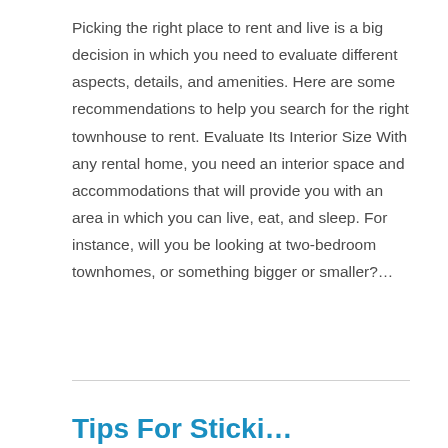Picking the right place to rent and live is a big decision in which you need to evaluate different aspects, details, and amenities. Here are some recommendations to help you search for the right townhouse to rent. Evaluate Its Interior Size With any rental home, you need an interior space and accommodations that will provide you with an area in which you can live, eat, and sleep. For instance, will you be looking at two-bedroom townhomes, or something bigger or smaller?…
Read More »
Tips For Sticki…